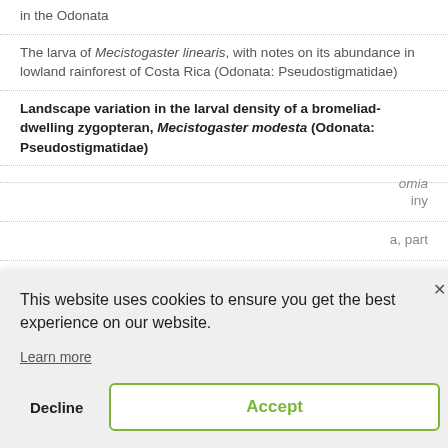in the Odonata
The larva of Mecistogaster linearis, with notes on its abundance in lowland rainforest of Costa Rica (Odonata: Pseudostigmatidae)
Landscape variation in the larval density of a bromeliad-dwelling zygopteran, Mecistogaster modesta (Odonata: Pseudostigmatidae)
...omia
...iny
...a, part
Seasonality of prey size selection in adult Sympetrum vicinum
[Figure (screenshot): Cookie consent modal dialog with 'X' close button, text reading 'This website uses cookies to ensure you get the best experience on our website.', a 'Learn more' underlined link, a 'Decline' button and an 'Accept' button with green border.]